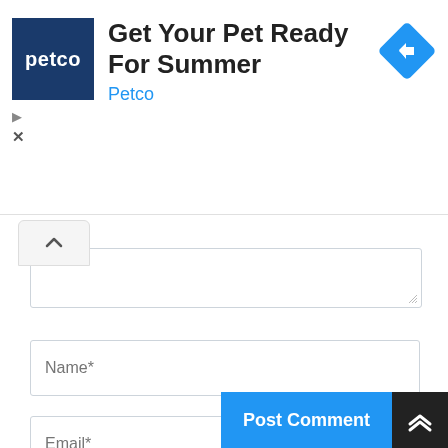[Figure (screenshot): Petco advertisement banner with logo, text 'Get Your Pet Ready For Summer', subtitle 'Petco', and a blue diamond navigation icon. Ad controls (play/close) on the left side.]
[Figure (screenshot): Web comment form with collapse/expand button (caret up), a textarea (partially visible), Name field, Email field, Website field, checkbox with label 'Save my name, email, and website in this browser for the next time I comment.', Post Comment button, and scroll-to-top button.]